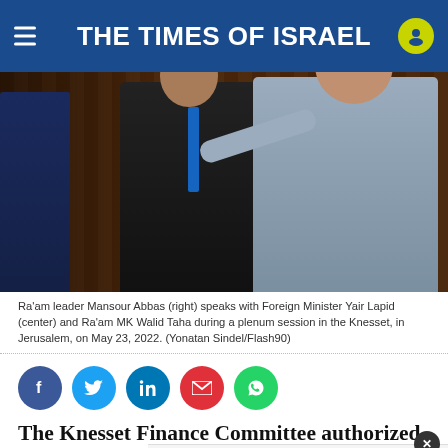THE TIMES OF ISRAEL
[Figure (photo): Ra'am leader Mansour Abbas (right) speaks with Foreign Minister Yair Lapid (center) and Ra'am MK Walid Taha during a plenum session in the Knesset, in Jerusalem, on May 23, 2022.]
Ra'am leader Mansour Abbas (right) speaks with Foreign Minister Yair Lapid (center) and Ra'am MK Walid Taha during a plenum session in the Knesset, in Jerusalem, on May 23, 2022. (Yonatan Sindel/Flash90)
[Figure (infographic): Social sharing buttons: Facebook, Twitter, LinkedIn, Email, WhatsApp]
The Knesset Finance Committee authorized the transfer of NIS 740 million ($220 million) in pre-approved funds on Tuesday